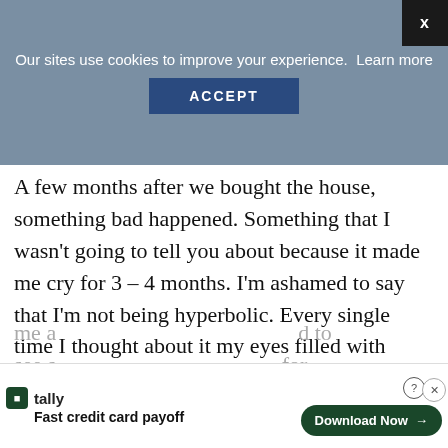[Figure (screenshot): Cookie consent banner overlay with gray background, close X button top right, text 'Our sites use cookies to improve your experience. Learn more', and a dark blue ACCEPT button]
A few months after we bought the house, something bad happened. Something that I wasn't going to tell you about because it made me cry for 3 – 4 months. I'm ashamed to say that I'm not being hyperbolic. Every single time I thought about it my eyes filled with tears, often having to leave the room. I've wept so hard, for so many weeks, that Brian was concerned about
[Figure (screenshot): Tally app advertisement banner at the bottom: 'Fast credit card payoff' with Download Now button]